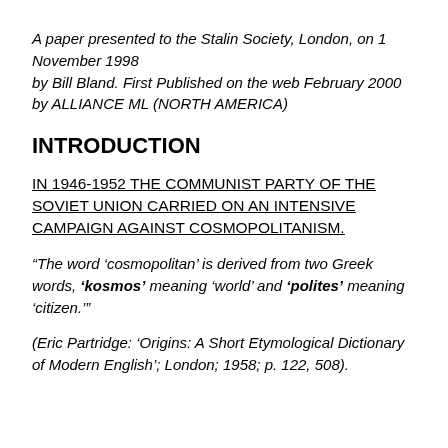A paper presented to the Stalin Society, London, on 1 November 1998 by Bill Bland. First Published on the web February 2000 by ALLIANCE ML (NORTH AMERICA)
INTRODUCTION
IN 1946-1952 THE COMMUNIST PARTY OF THE SOVIET UNION CARRIED ON AN INTENSIVE CAMPAIGN AGAINST COSMOPOLITANISM.
“The word ‘cosmopolitan’ is derived from two Greek words, ‘kosmos’ meaning ‘world’ and ‘polites’ meaning ‘citizen.’”
(Eric Partridge: ‘Origins: A Short Etymological Dictionary of Modern English’; London; 1958; p. 122, 508).